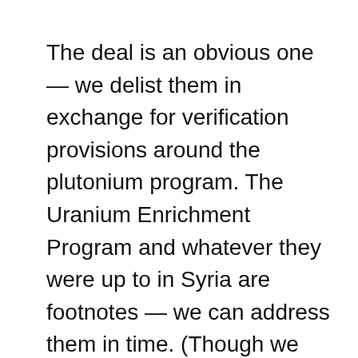The deal is an obvious one — we delist them in exchange for verification provisions around the plutonium program. The Uranium Enrichment Program and whatever they were up to in Syria are footnotes — we can address them in time. (Though we should be careful to set the correct precedents for verification tools in the plutonium phase.)
The basic problem is timing — if we delist North Korea, they are probably going to resume disablement and allow verification of the plutonium production production program. But no one wants to move first, on the off chance that they will be doing the...